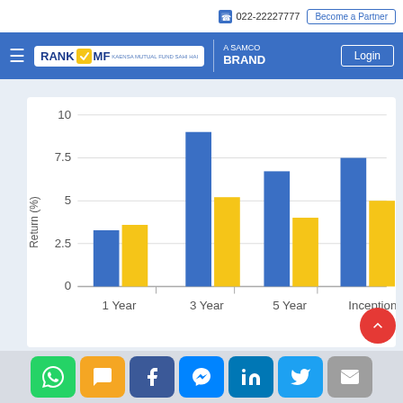022-22227777  Become a Partner
[Figure (logo): RankMF - A SAMCO Brand logo with Login button on blue navigation bar]
[Figure (grouped-bar-chart): Return (%)]
Social share icons: WhatsApp, SMS, Facebook, Messenger, LinkedIn, Twitter, Email